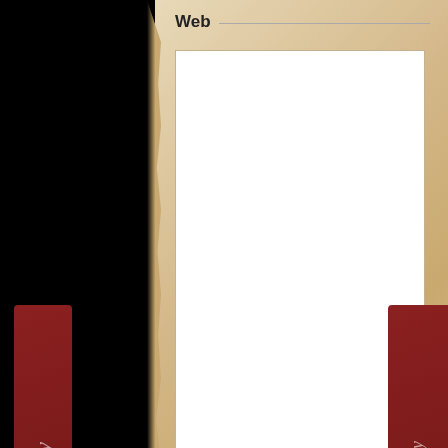Web
[Figure (other): Comment text input area - large white textarea on aged parchment background]
Send comment
DUKES DOMAGOJ AND ZDESLAV
Recent Articles
Recent comm
Frankish feudalism
Sep 20 2013
Medieval Weaponry